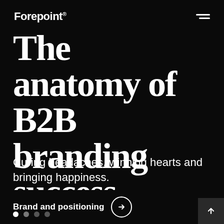Forepoint®
The anatomy of B2B branding success
Curing headaches, winning hearts and bringing happiness.
Brand and positioning →